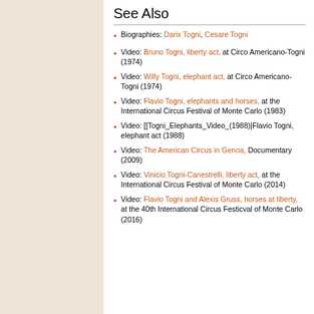See Also
Biographies: Darix Togni, Cesare Togni
Video: Bruno Togni, liberty act, at Circo Americano-Togni (1974)
Video: Willy Togni, elephant act, at Circo Americano-Togni (1974)
Video: Flavio Togni, elephants and horses, at the International Circus Festival of Monte Carlo (1983)
Video: [[Togni_Elephants_Video_(1988)|Flavio Togni, elephant act (1988)
Video: The American Circus in Genoa, Documentary (2009)
Video: Vinicio Togni-Canestrelli, liberty act, at the International Circus Festival of Monte Carlo (2014)
Video: Flavio Togni and Alexis Gruss, horses at liberty, at the 40th International Circus Festicval of Monte Carlo (2016)